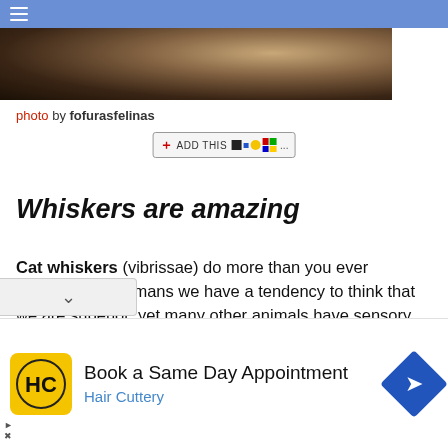[Figure (photo): Top navigation bar with hamburger menu icon on blue/purple background]
[Figure (photo): Close-up photo of a cat, showing fur details, cropped at top of page]
photo by fofurasfelinas
[Figure (screenshot): AddThis social sharing button widget]
Whiskers are amazing
Cat whiskers (vibrissae) do more than you ever imagined. As humans we have a tendency to think that we are superior, yet many other animals have sensory devices that f...ceed the ability of human senses.
[Figure (screenshot): Advertisement: Book a Same Day Appointment - Hair Cuttery, with HC logo and blue diamond arrow icon]